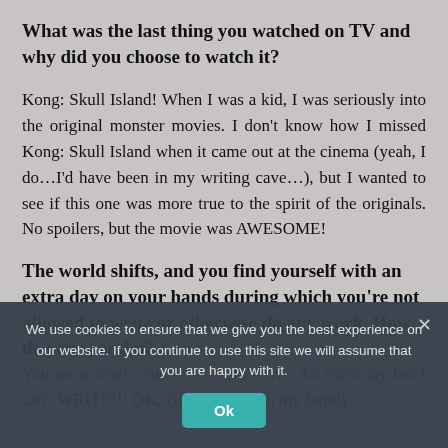What was the last thing you watched on TV and why did you choose to watch it?
Kong: Skull Island! When I was a kid, I was seriously into the original monster movies. I don't know how I missed Kong: Skull Island when it came out at the cinema (yeah, I do…I'd have been in my writing cave…), but I wanted to see if this one was more true to the spirit of the originals. No spoilers, but the movie was AWESOME!
The world shifts, and you find yourself with an extra day on your hands during which you're not allowed to write or otherwise do any work. How do you spend it? (Suppose it's a pleasant day.)
You are a cruel, cruel viewer… An extra day but I can't WRITE!!! OK, I'd spend it with my family
We use cookies to ensure that we give you the best experience on our website. If you continue to use this site we will assume that you are happy with it.